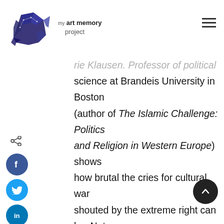my art memory project
...rie Klausen. Professor of political science at Brandeis University in Boston (author of The Islamic Challenge: Politics and Religion in Western Europe) shows how brutal the cries for cultural war shouted by the extreme right can be. Not long ago, two members of the Danish Peoples Party described Muslims as "a cancer on Danish society". Meaning: a tumor that must be cut out. Both these men are Lutheran pastors. Like other right-wing extremists (like the Majelis Ulama Indonesia or Indonesian Council of Ulama here in Indonesia, for instance)